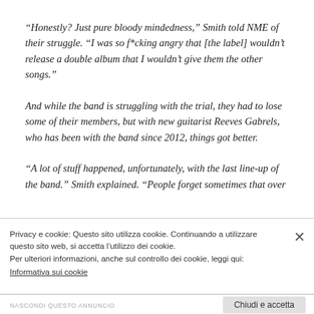“Honestly? Just pure bloody mindedness,” Smith told NME of their struggle. “I was so f*cking angry that [the label] wouldn’t release a double album that I wouldn’t give them the other songs.”
And while the band is struggling with the trial, they had to lose some of their members, but with new guitarist Reeves Gabrels, who has been with the band since 2012, things got better.
“A lot of stuff happened, unfortunately, with the last line-up of the band.” Smith explained. “People forget sometimes that over…
Privacy e cookie: Questo sito utilizza cookie. Continuando a utilizzare questo sito web, si accetta l’utilizzo dei cookie.
Per ulteriori informazioni, anche sul controllo dei cookie, leggi qui:
Informativa sui cookie
Chiudi e accetta